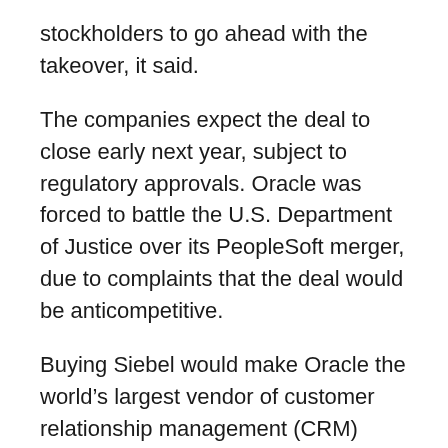stockholders to go ahead with the takeover, it said.
The companies expect the deal to close early next year, subject to regulatory approvals. Oracle was forced to battle the U.S. Department of Justice over its PeopleSoft merger, due to complaints that the deal would be anticompetitive.
Buying Siebel would make Oracle the world’s largest vendor of customer relationship management (CRM) software, Oracle said, bringing it 4,000 customers and 3.4 million individual CRM software seats.
Oracle agreed to pay $10.66 per share for the company, more than a 10 per cent premium over Siebel’s closing stock price Friday of $9.13 per share. The total value of the proposed deal is $5.85 billion, but Oracle will effectively pay $3.61 billion given